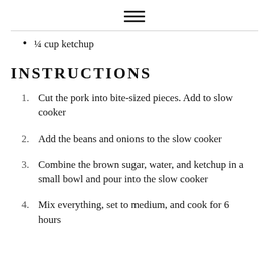≡
¼ cup ketchup
INSTRUCTIONS
1. Cut the pork into bite-sized pieces. Add to slow cooker
2. Add the beans and onions to the slow cooker
3. Combine the brown sugar, water, and ketchup in a small bowl and pour into the slow cooker
4. Mix everything, set to medium, and cook for 6 hours